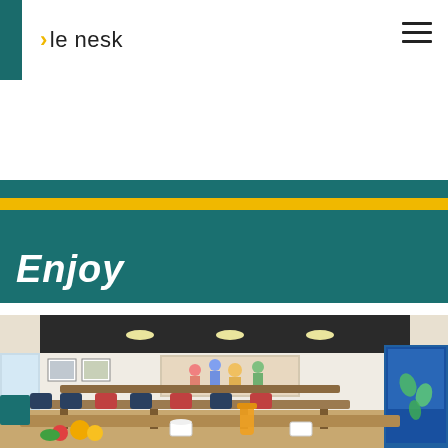[Figure (logo): Le Nesk logo with yellow arrow chevron and dark text on white header background]
[Figure (illustration): Horizontal decorative stripe band: teal stripe, yellow stripe, teal stripe stacked]
Enjoy
[Figure (photo): Interior photo of a cafeteria/dining room with wooden tables and chairs, colorful mural on the wall, framed pictures, a blue refrigerator on the right, orange juice and fruit on the foreground table]